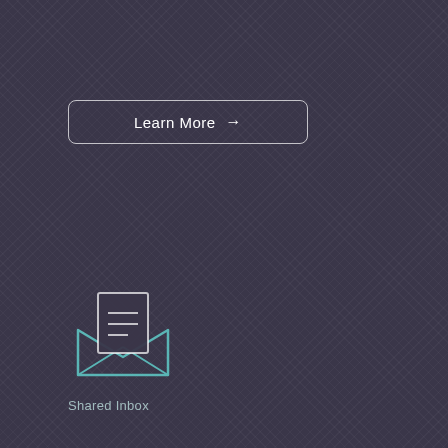[Figure (illustration): Learn More button with arrow (top)]
[Figure (illustration): Open envelope icon with letter lines, teal/cyan outline style]
Shared Inbox
Supercharge email and collaborate in a simple team inbox.
[Figure (illustration): Learn More button with arrow (bottom)]
[Figure (illustration): Shopping cart icon, white outline style, partially visible at bottom]